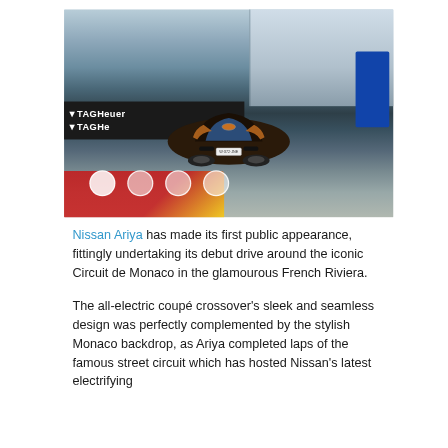[Figure (photo): Nissan Ariya electric crossover SUV driving on the Circuit de Monaco street circuit, with TAG Heuer advertising banners visible on barriers, Monaco buildings and grandstands in background, red and yellow rumble strip at lower left, and image navigation dots overlaid at bottom.]
Nissan Ariya has made its first public appearance, fittingly undertaking its debut drive around the iconic Circuit de Monaco in the glamourous French Riviera.
The all-electric coupé crossover's sleek and seamless design was perfectly complemented by the stylish Monaco backdrop, as Ariya completed laps of the famous street circuit which has hosted Nissan's latest electrifying